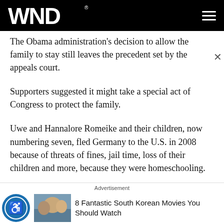WND
The Obama administration's decision to allow the family to stay still leaves the precedent set by the appeals court.
Supporters suggested it might take a special act of Congress to protect the family.
Uwe and Hannalore Romeike and their children, now numbering seven, fled Germany to the U.S. in 2008 because of threats of fines, jail time, loss of their children and more, because they were homeschooling.
They chose home education, they said, because of their
Advertisement
8 Fantastic South Korean Movies You Should Watch